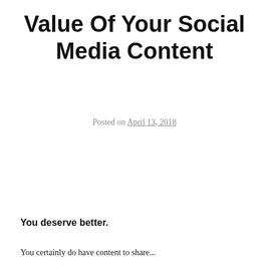Value Of Your Social Media Content
Posted on April 13, 2018
You deserve better.
You certainly do have content to share...